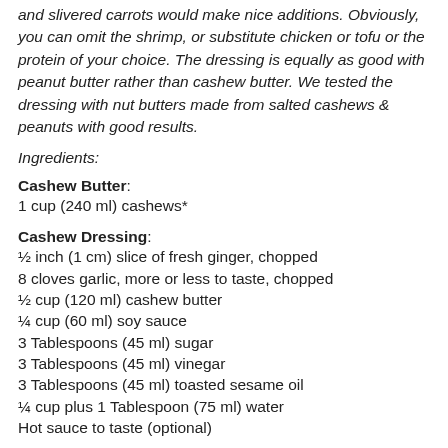and slivered carrots would make nice additions. Obviously, you can omit the shrimp, or substitute chicken or tofu or the protein of your choice. The dressing is equally as good with peanut butter rather than cashew butter. We tested the dressing with nut butters made from salted cashews & peanuts with good results.
Ingredients:
Cashew Butter:
1 cup (240 ml) cashews*
Cashew Dressing:
½ inch (1 cm) slice of fresh ginger, chopped
8 cloves garlic, more or less to taste, chopped
½ cup (120 ml) cashew butter
¼ cup (60 ml) soy sauce
3 Tablespoons (45 ml) sugar
3 Tablespoons (45 ml) vinegar
3 Tablespoons (45 ml) toasted sesame oil
¼ cup plus 1 Tablespoon (75 ml) water
Hot sauce to taste (optional)